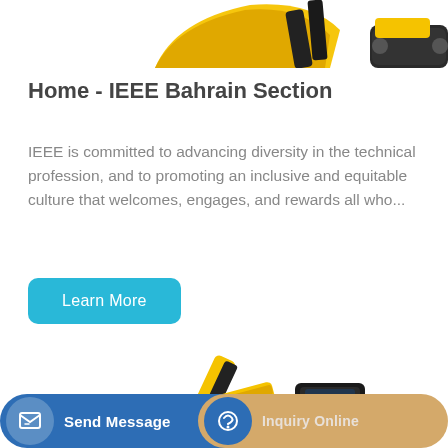[Figure (photo): Partial view of a yellow excavator arm and black tracks at the top of the page, cropped]
Home - IEEE Bahrain Section
IEEE is committed to advancing diversity in the technical profession, and to promoting an inclusive and equitable culture that welcomes, engages, and rewards all who...
[Figure (other): Blue 'Learn More' button with rounded corners]
[Figure (photo): Yellow excavator arm and cab on white background, partially visible at bottom of page]
Send Message | Inquiry Online